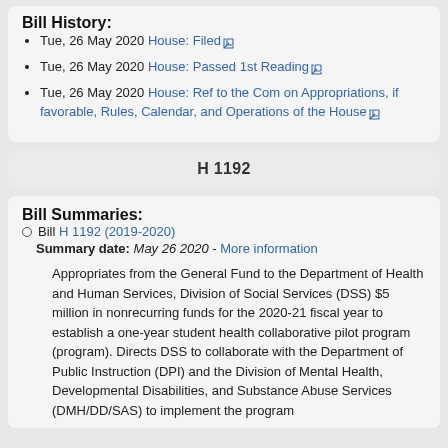Bill History:
Tue, 26 May 2020 House: Filed
Tue, 26 May 2020 House: Passed 1st Reading
Tue, 26 May 2020 House: Ref to the Com on Appropriations, if favorable, Rules, Calendar, and Operations of the House
H 1192
Bill Summaries:
Bill H 1192 (2019-2020)
Summary date: May 26 2020 - More information
Appropriates from the General Fund to the Department of Health and Human Services, Division of Social Services (DSS) $5 million in nonrecurring funds for the 2020-21 fiscal year to establish a one-year student health collaborative pilot program (program). Directs DSS to collaborate with the Department of Public Instruction (DPI) and the Division of Mental Health, Developmental Disabilities, and Substance Abuse Services (DMH/DD/SAS) to implement the program